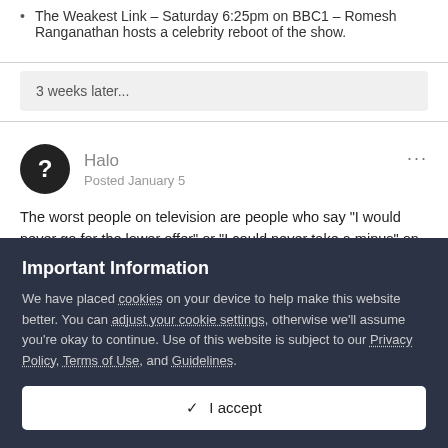The Weakest Link – Saturday 6:25pm on BBC1 – Romesh Ranganathan hosts a celebrity reboot of the show.
3 weeks later...
Halo
Posted January 5
The worst people on television are people who say "I would never go for the lower offer" or "I could never take a minus" on
Important Information
We have placed cookies on your device to help make this website better. You can adjust your cookie settings, otherwise we'll assume you're okay to continue. Use of this website is subject to our Privacy Policy, Terms of Use, and Guidelines.
✓  I accept